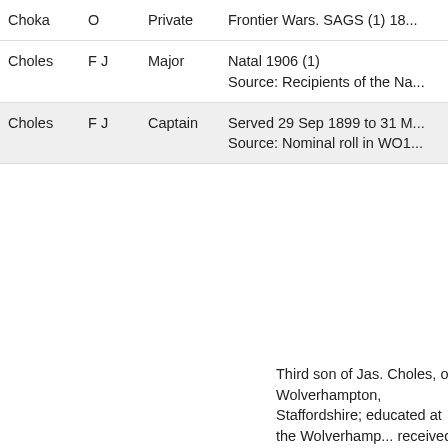| Surname | Initials |  | Rank | Details |
| --- | --- | --- | --- | --- |
| Choka | O |  | Private | Frontier Wars. SAGS (1) 18... |
| Choles | F J |  | Major | Natal 1906 (1)
Source: Recipients of the Na... |
| Choles | F J |  | Captain | Served 29 Sep 1899 to 31 M...
Source: Nominal roll in WO1... |
Third son of Jas. Choles, of Wolverhampton, Staffordshire; educated at the Wolverhamp... received a practical training London and N-W Locomotive... 1869 he was selected by Ma... Inspector General of Ordna... duty in connection with the R... Ammunition Factories at Kirk... his services were solicited a... Government Dockyards, Bon... erection of the 18-ton guns f... Abyssinia and Magdala, of th... Defence. In 1874 he was ag... duty to the arsenals at Mhow... India. In 1879 he was the su... among nearly 200 applicants...